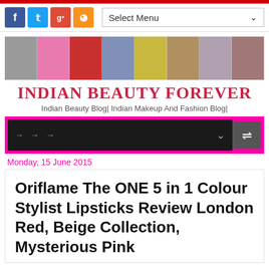[Figure (screenshot): Navigation bar with Facebook, Twitter, Google+, RSS social buttons and Select Menu dropdown]
[Figure (photo): Banner with collage of beauty product photos including nail polish, lipstick, makeup palettes]
INDIAN BEAUTY FOREVER
Indian Beauty Blog| Indian Makeup And Fashion Blog|
[Figure (screenshot): Dark navigation menu bar with magenta border and shuffle icon]
Monday, 15 June 2015
Oriflame The ONE 5 in 1 Colour Stylist Lipsticks Review London Red, Beige Collection, Mysterious Pink